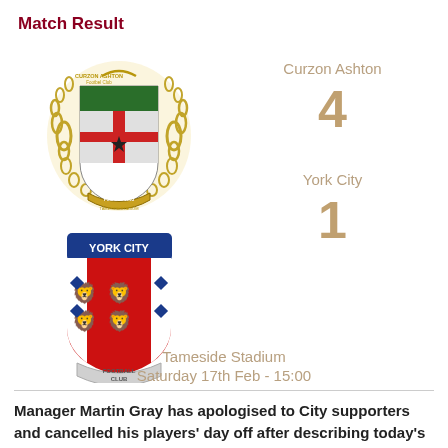Match Result
[Figure (illustration): Curzon Ashton Football Club crest - circular badge with gold laurel wreath, green and white shield with red elements, star, Founded 1963, Tameside Stadium text]
Curzon Ashton
4
[Figure (illustration): York City Football Club crest - shield shape with blue banner reading YORK CITY at top, red and white shield with three blue lions, scroll at bottom reading FOOTBALL CLUB]
York City
1
Tameside Stadium
Saturday 17th Feb - 15:00
Manager Martin Gray has apologised to City supporters and cancelled his players' day off after describing today's 4-1 defeat at Curzon Ashton as an